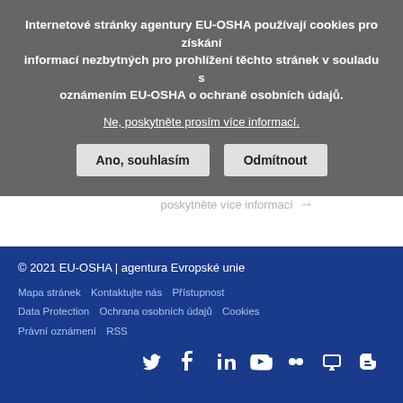Internetové stránky agentury EU-OSHA používají cookies pro získání informací nezbytných pro prohlížení těchto stránek v souladu s oznámením EU-OSHA o ochraně osobních údajů. Ne, poskytněte prosím více informací. Ano, souhlasím Odmítnout
[Figure (screenshot): Pagination controls showing page 1 (active, red text, blue border), page 2, next arrow, and last page arrow in red]
© 2021 EU-OSHA | agentura Evropské unie
Mapa stránek   Kontaktujte nás   Přístupnost
Data Protection   Ochrana osobních údajů   Cookies
Právní oznámení   RSS